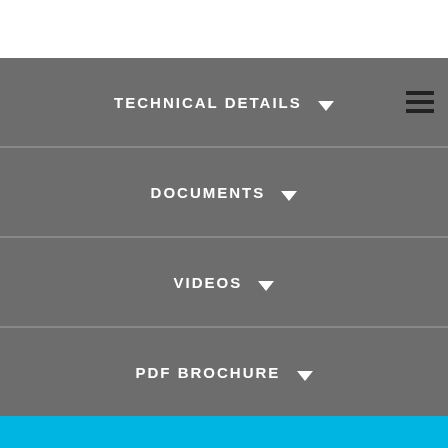TECHNICAL DETAILS
DOCUMENTS
VIDEOS
PDF BROCHURE
NEED HELP?
OUR TEAM IS HERE FOR YOU